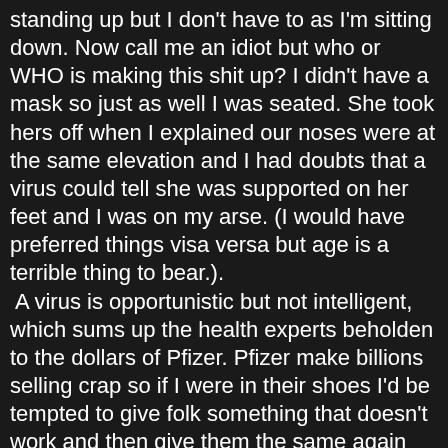standing up but I don't have to as I'm sitting down. Now call me an idiot but who or WHO is making this shit up? I didn't have a mask so just as well I was seated. She took hers off when I explained our noses were at the same elevation and I had doubts that a virus could tell she was supported on her feet and I was on my arse. (I would have preferred things visa versa but age is a terrible thing to bear.).
 A virus is opportunistic but not intelligent, which sums up the health experts beholden to the dollars of Pfizer. Pfizer make billions selling crap so if I were in their shoes I'd be tempted to give folk something that doesn't work and then give them the same again and again and again. All the while they assume they are protected from the consequences. Happen they are but it's going to pop a dent in their profits when they have to keep paying for protection.
Never give in to extortionists. I include governments, they are the worst. Taxes go up to fund their lifestyles but never come down when they fail us. They don't